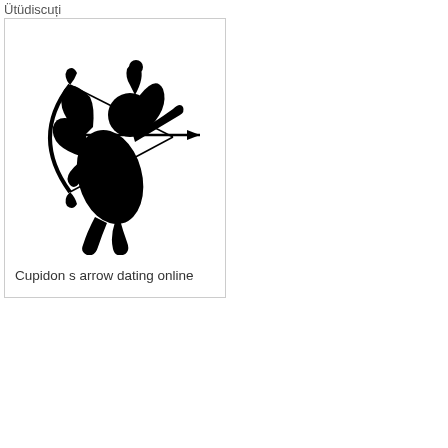Ütüdiscuți
[Figure (illustration): Black silhouette of Cupid drawing a bow and arrow, classic cupid figure with wings]
Cupidon s arrow dating online